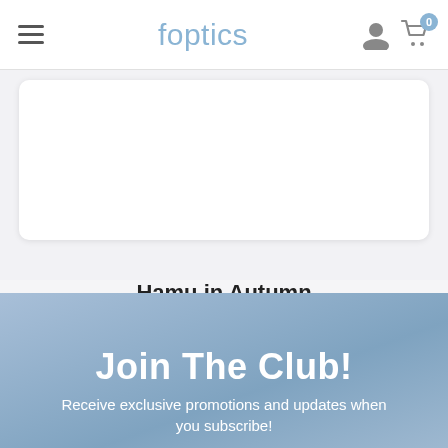foptics
[Figure (other): White product card / image placeholder]
Hamu in Autumn
$49.90
Join The Club!
Receive exclusive promotions and updates when you subscribe!